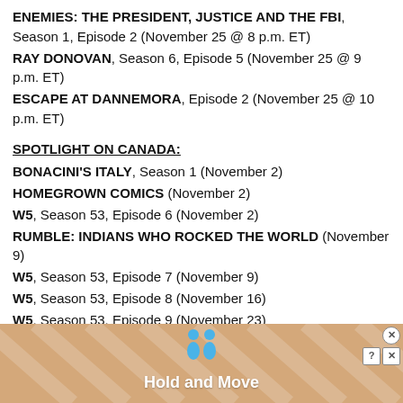ENEMIES: THE PRESIDENT, JUSTICE AND THE FBI, Season 1, Episode 2 (November 25 @ 8 p.m. ET)
RAY DONOVAN, Season 6, Episode 5 (November 25 @ 9 p.m. ET)
ESCAPE AT DANNEMORA, Episode 2 (November 25 @ 10 p.m. ET)
SPOTLIGHT ON CANADA:
BONACINI'S ITALY, Season 1 (November 2)
HOMEGROWN COMICS (November 2)
W5, Season 53, Episode 6 (November 2)
RUMBLE: INDIANS WHO ROCKED THE WORLD (November 9)
W5, Season 53, Episode 7 (November 9)
W5, Season 53, Episode 8 (November 16)
W5, Season 53, Episode 9 (November 23)
WORTH WATCHING:
THE HUNT FOR THE TRUMP TAPES WITH TOM ARNOLD (partially visible)
[Figure (screenshot): Advertisement overlay showing 'Hold and Move' with two blue human figures icons, close buttons, and a peach/tan striped background]